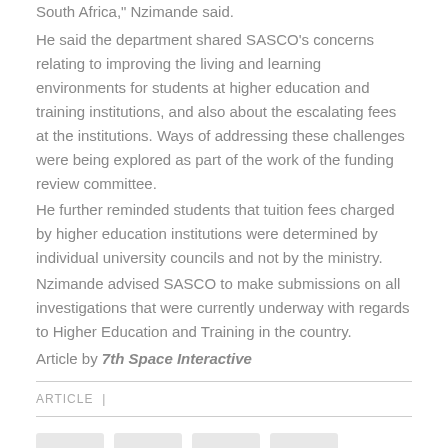South Africa," Nzimande said.
He said the department shared SASCO’s concerns relating to improving the living and learning environments for students at higher education and training institutions, and also about the escalating fees at the institutions. Ways of addressing these challenges were being explored as part of the work of the funding review committee.
He further reminded students that tuition fees charged by higher education institutions were determined by individual university councils and not by the ministry.
Nzimande advised SASCO to make submissions on all investigations that were currently underway with regards to Higher Education and Training in the country.
Article by 7th Space Interactive
ARTICLE
[Figure (other): Row of four placeholder button elements]